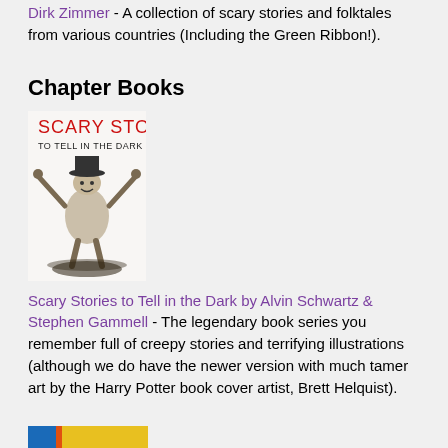Dirk Zimmer - A collection of scary stories and folktales from various countries (Including the Green Ribbon!).
Chapter Books
[Figure (photo): Book cover of 'Scary Stories to Tell in the Dark' showing a scarecrow-like figure with arms raised against a white background, title in red and black text at top]
Scary Stories to Tell in the Dark by Alvin Schwartz & Stephen Gammell - The legendary book series you remember full of creepy stories and terrifying illustrations (although we do have the newer version with much tamer art by the Harry Potter book cover artist, Brett Helquist).
[Figure (photo): Partial view of another book cover at the bottom of the page, showing blue and yellow/orange colors]